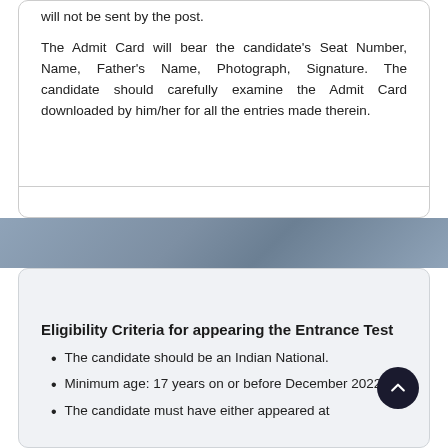will not be sent by the post.

The Admit Card will bear the candidate's Seat Number, Name, Father's Name, Photograph, Signature. The candidate should carefully examine the Admit Card downloaded by him/her for all the entries made therein.
Eligibility Criteria for appearing the Entrance Test
The candidate should be an Indian National.
Minimum age: 17 years on or before December 2022.
The candidate must have either appeared at...